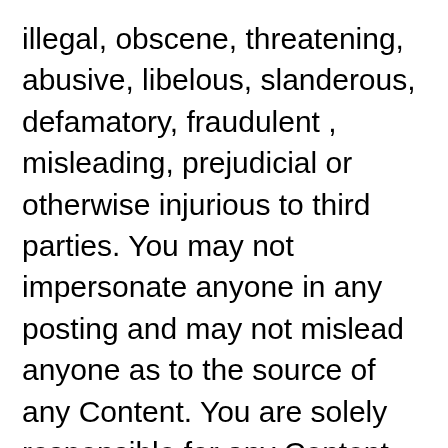illegal, obscene, threatening, abusive, libelous, slanderous, defamatory, fraudulent , misleading, prejudicial or otherwise injurious to third parties. You may not impersonate anyone in any posting and may not mislead anyone as to the source of any Content. You are solely responsible for any Content that you post on our Web site. We reserve the right to screen, remove or edit any such Content, but are under no obligation to do so. Under no